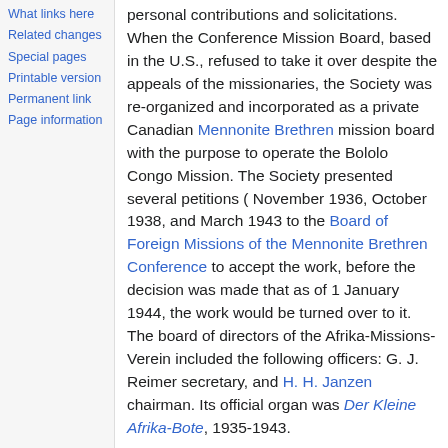What links here
Related changes
Special pages
Printable version
Permanent link
Page information
personal contributions and solicitations. When the Conference Mission Board, based in the U.S., refused to take it over despite the appeals of the missionaries, the Society was re-organized and incorporated as a private Canadian Mennonite Brethren mission board with the purpose to operate the Bololo Congo Mission. The Society presented several petitions ( November 1936, October 1938, and March 1943 to the Board of Foreign Missions of the Mennonite Brethren Conference to accept the work, before the decision was made that as of 1 January 1944, the work would be turned over to it. The board of directors of the Afrika-Missions-Verein included the following officers: G. J. Reimer secretary, and H. H. Janzen chairman. Its official organ was Der Kleine Afrika-Bote, 1935-1943.